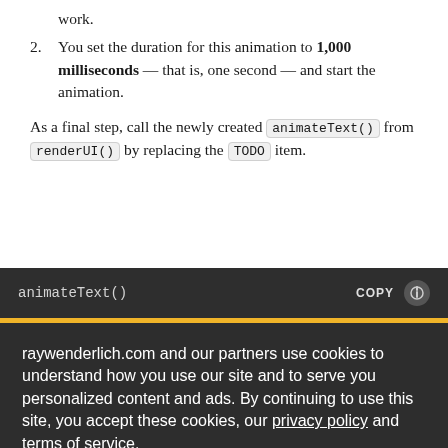work.
You set the duration for this animation to 1,000 milliseconds — that is, one second — and start the animation.
As a final step, call the newly created animateText() from renderUI() by replacing the TODO item.
[Figure (screenshot): Dark code block header showing 'animateText()' function label with COPY button and icon on the right]
raywenderlich.com and our partners use cookies to understand how you use our site and to serve you personalized content and ads. By continuing to use this site, you accept these cookies, our privacy policy and terms of service.